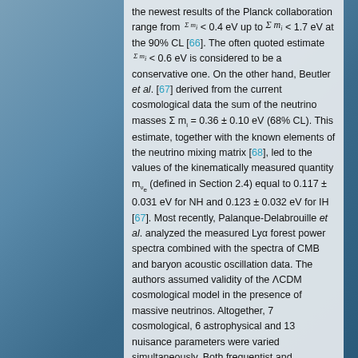the newest results of the Planck collaboration range from Σmi < 0.4 eV up to Σmi < 1.7 eV at the 90% CL [66]. The often quoted estimate Σmi < 0.6 eV is considered to be a conservative one. On the other hand, Beutler et al. [67] derived from the current cosmological data the sum of the neutrino masses Σ mi = 0.36 ± 0.10 eV (68% CL). This estimate, together with the known elements of the neutrino mixing matrix [68], led to the values of the kinematically measured quantity mνe (defined in Section 2.4) equal to 0.117 ± 0.031 eV for NH and 0.123 ± 0.032 eV for IH [67]. Most recently, Palanque-Delabrouille et al. analyzed the measured Lyα forest power spectra combined with the spectra of CMB and baryon acoustic oscillation data. The authors assumed validity of the ΛCDM cosmological model in the presence of massive neutrinos. Altogether, 7 cosmological, 6 astrophysical and 13 nuisance parameters were varied simultaneously. Both frequentist and